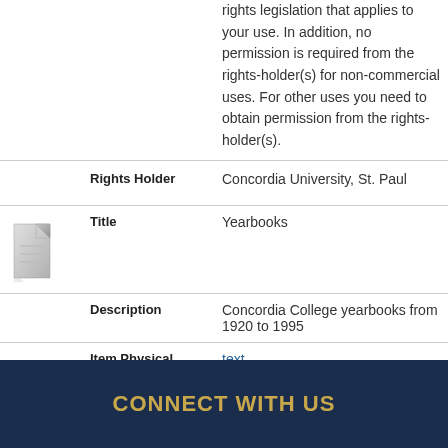rights legislation that applies to your use. In addition, no permission is required from the rights-holder(s) for non-commercial uses. For other uses you need to obtain permission from the rights-holder(s).
| Rights Holder | Concordia University, St. Paul |
| Title | Yearbooks |
| Description | Concordia College yearbooks from 1920 to 1995 |
| Item Physical Format | text |
CONNECT WITH US